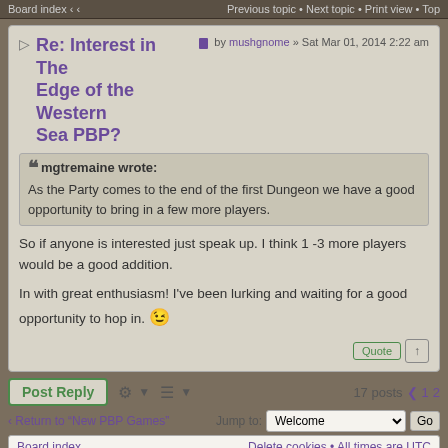Board index   Previous topic · Next topic · Print view · Top
Re: Interest in The Edge of the Western Sea PBP?
by mushgnome » Sat Mar 01, 2014 2:22 am
mgtremaine wrote: As the Party comes to the end of the first Dungeon we have a good opportunity to bring in a few more players.
So if anyone is interested just speak up. I think 1 -3 more players would be a good addition.
In with great enthusiasm! I've been lurking and waiting for a good opportunity to hop in. 😉
Post Reply   17 posts  1 2
‹ Return to "New PBP Games"   Jump to:  Welcome  Go
Board index   Delete cookies • All times are UTC
Powered by phpBB® Forum Software © phpBB Limited
Designed by ST Software.